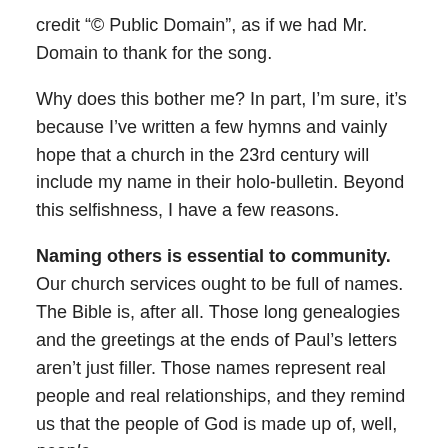credit “© Public Domain”, as if we had Mr. Domain to thank for the song.
Why does this bother me? In part, I’m sure, it’s because I’ve written a few hymns and vainly hope that a church in the 23rd century will include my name in their holo-bulletin. Beyond this selfishness, I have a few reasons.
Naming others is essential to community. Our church services ought to be full of names. The Bible is, after all. Those long genealogies and the greetings at the ends of Paul’s letters aren’t just filler. Those names represent real people and real relationships, and they remind us that the people of God is made up of, well, people.
Crediting the sources gives us a sense of history, rich worship, and communion of the saints. When we sing